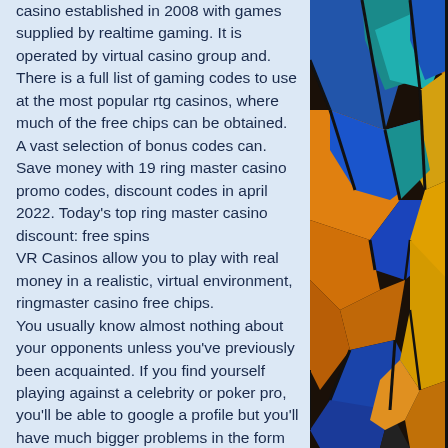casino established in 2008 with games supplied by realtime gaming. It is operated by virtual casino group and. There is a full list of gaming codes to use at the most popular rtg casinos, where much of the free chips can be obtained. A vast selection of bonus codes can. Save money with 19 ring master casino promo codes, discount codes in april 2022. Today's top ring master casino discount: free spins
VR Casinos allow you to play with real money in a realistic, virtual environment, ringmaster casino free chips.
You usually know almost nothing about your opponents unless you've previously been acquainted. If you find yourself playing against a celebrity or poker pro, you'll be able to google a profile but you'll have much bigger problems in the form of probable defeat. Online texas hold'em poker sites. From london to las vegas and all points in
[Figure (photo): Colorful stained glass window with geometric shapes in blue, teal, yellow, and orange tones separated by dark leading]